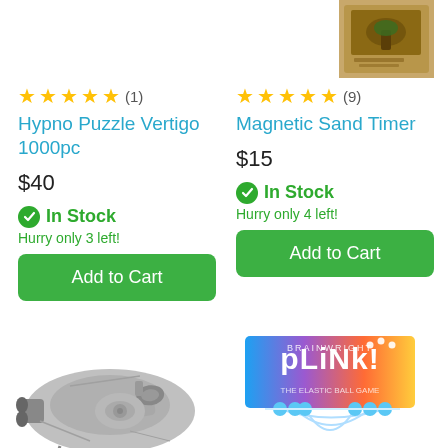[Figure (photo): Top partial view of a Magnetic Sand Timer product box]
★★★★★ (1)
Hypno Puzzle Vertigo 1000pc
$40
✔ In Stock
Hurry only 3 left!
Add to Cart
★★★★★ (9)
Magnetic Sand Timer
$15
✔ In Stock
Hurry only 4 left!
Add to Cart
[Figure (photo): Silver Millennium Falcon Star Wars model/puzzle piece]
[Figure (photo): Plink! board game box with colorful rainbow design and game pieces below]